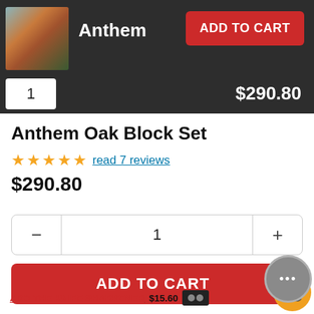[Figure (screenshot): E-commerce product page for Anthem Oak Block Set knife set, showing product image, quantity selector, price $290.80, and Add to Cart button]
Anthem
ADD TO CART
1
$290.80
Anthem Oak Block Set
★★★★★ read 7 reviews
$290.80
1
ADD TO CART
ADD THE KNIFE SHARPENER $15.60